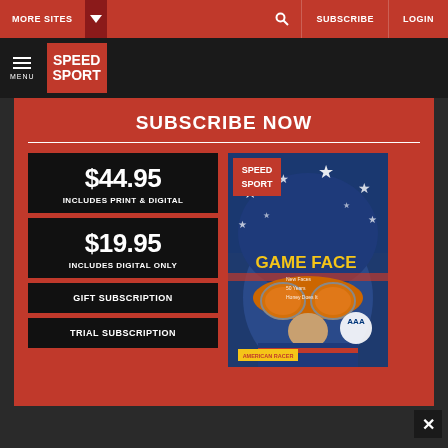MORE SITES | SUBSCRIBE | LOGIN
[Figure (logo): Speed Sport logo - red background with white text SPEED SPORT]
SUBSCRIBE NOW
$44.95
INCLUDES PRINT & DIGITAL
$19.95
INCLUDES DIGITAL ONLY
GIFT SUBSCRIPTION
TRIAL SUBSCRIPTION
[Figure (photo): Speed Sport magazine cover showing a racing driver in a star-spangled American flag helmet with orange visor. Text reads GAME FACE in yellow.]